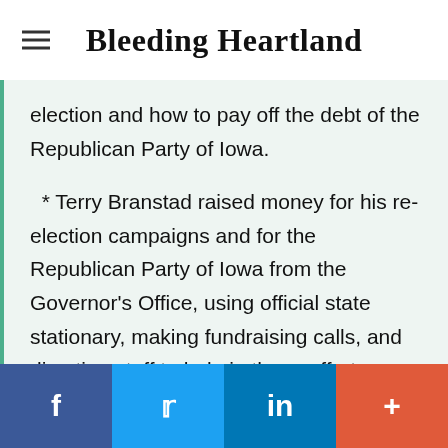Bleeding Heartland
election and how to pay off the debt of the Republican Party of Iowa.
* Terry Branstad raised money for his re-election campaigns and for the Republican Party of Iowa from the Governor's Office, using official state stationary, making fundraising calls, and directing staff to help in these efforts instead of working for the